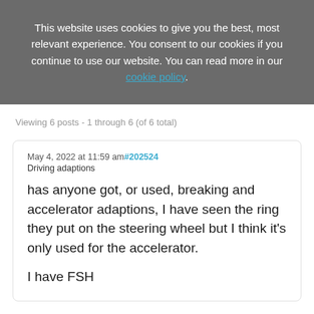This website uses cookies to give you the best, most relevant experience. You consent to our cookies if you continue to use our website. You can read more in our cookie policy.
Viewing 6 posts - 1 through 6 (of 6 total)
May 4, 2022 at 11:59 am#202524
Driving adaptions
has anyone got, or used, breaking and accelerator adaptions, I have seen the ring they put on the steering wheel but I think it's only used for the accelerator.

I have FSH